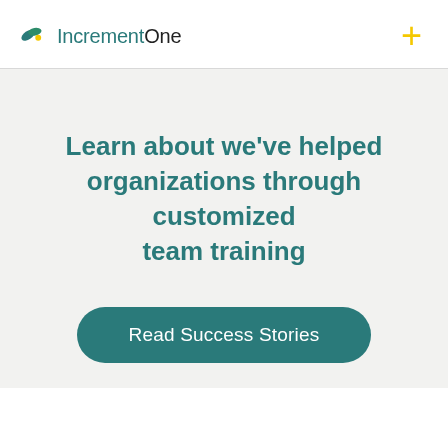IncrementOne
Learn about we've helped organizations through customized team training
Read Success Stories